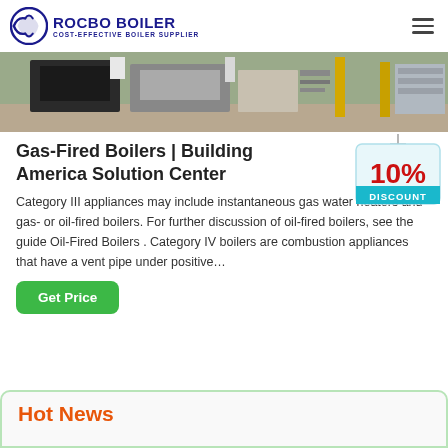ROCBO BOILER COST-EFFECTIVE BOILER SUPPLIER
[Figure (photo): Industrial boilers in a warehouse or factory setting, showing large black and grey boiler units on a concrete floor with yellow support structures in background]
Gas-Fired Boilers | Building America Solution Center
[Figure (infographic): 10% DISCOUNT badge/sticker hanging from a string, red and teal colors]
Category III appliances may include instantaneous gas water heaters and gas- or oil-fired boilers. For further discussion of oil-fired boilers, see the guide Oil-Fired Boilers . Category IV boilers are combustion appliances that have a vent pipe under positive…
Hot News